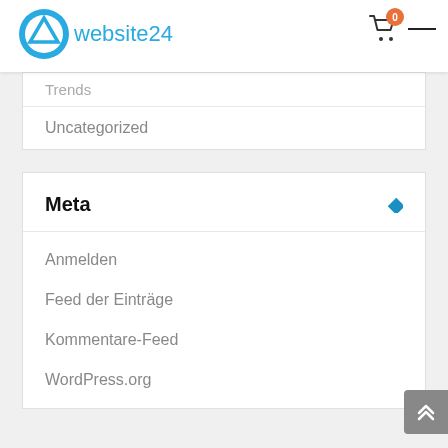website24
Trends
Uncategorized
Meta
Anmelden
Feed der Einträge
Kommentare-Feed
WordPress.org